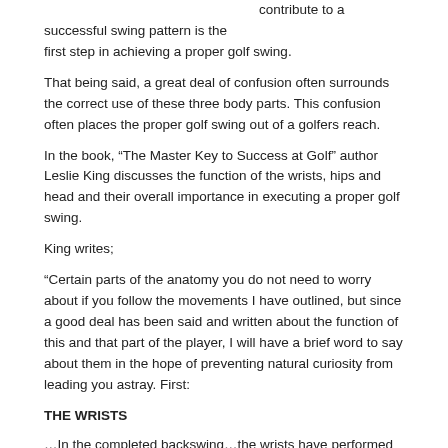contribute to a successful swing pattern is the first step in achieving a proper golf swing.
That being said, a great deal of confusion often surrounds the correct use of these three body parts. This confusion often places the proper golf swing out of a golfers reach.
In the book, “The Master Key to Success at Golf” author Leslie King discusses the function of the wrists, hips and head and their overall importance in executing a proper golf swing.
King writes;
“Certain parts of the anatomy you do not need to worry about if you follow the movements I have outlined, but since a good deal has been said and written about the function of this and that part of the player, I will have a brief word to say about them in the hope of preventing natural curiosity from leading you astray. First:
THE WRISTS
…In the completed backswing…the wrists have performed their function naturally without your being aware of it. They have broken with the smooth momentum of the weighted club head. If you have followed my instructions so far, you have not given a thought to the matter of whether or not they are fully cocked at the top of the swing.